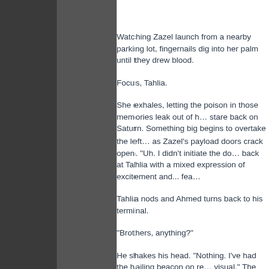Watching Zazel launch from a nearby parking lot, fingernails digging into her palm until they drew blood.
Focus, Tahlia.
She exhales, letting the poison in those memories leak out of her, and turns her stare back on Saturn. Something big begins to overtake the left side of her screen as Zazel's payload doors crack open. "Uh. I didn't initiate the do—" Ahmed looks back at Tahlia with a mixed expression of excitement and... fear.
Tahlia nods and Ahmed turns back to his terminal.
"Brothers, anything?"
He shakes his head. "Nothing. I've had the hailing beacon on repeat, no visual." The doors continue to stretch open in one long flowery bloom, light spilling gently into the gap between them.
Her petals fully extended, the docking arm rises to meet Perseus' hull. The vessel makes a very loud noise and shimmies unsteadily for a moment as the arm attaches itself to the ship's hull. "Docking complete. The ships' cavities meet each other." Ahmed looks up from his terminal, a disquieted look on his face.